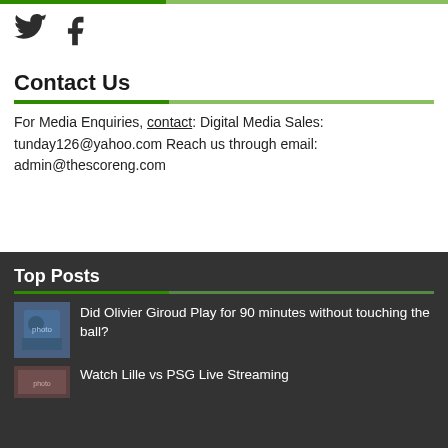[Figure (logo): Twitter bird icon and Facebook 'f' icon in dark gray]
Contact Us
For Media Enquiries, contact: Digital Media Sales: tunday126@yahoo.com Reach us through email: admin@thescoreng.com
Top Posts
[Figure (photo): Photo of Olivier Giroud in a blue France football jersey]
Did Olivier Giroud Play for 90 minutes without touching the ball?
[Figure (photo): Thumbnail image for Watch Lille vs PSG Live Streaming article]
Watch Lille vs PSG Live Streaming